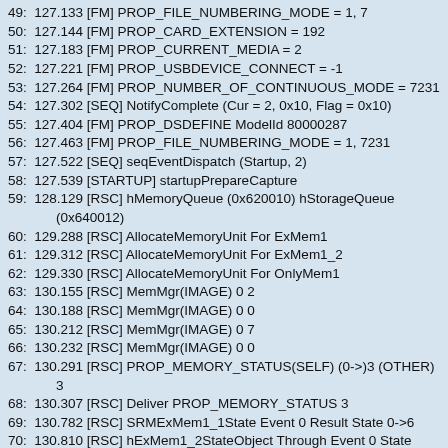49:  127.133 [FM] PROP_FILE_NUMBERING_MODE = 1, 7
50:  127.144 [FM] PROP_CARD_EXTENSION = 192
51:  127.183 [FM] PROP_CURRENT_MEDIA = 2
52:  127.221 [FM] PROP_USBDEVICE_CONNECT = -1
53:  127.264 [FM] PROP_NUMBER_OF_CONTINUOUS_MODE = 7231
54:  127.302 [SEQ] NotifyComplete (Cur = 2, 0x10, Flag = 0x10)
55:  127.404 [FM] PROP_DSDEFINE ModelId 80000287
56:  127.463 [FM] PROP_FILE_NUMBERING_MODE = 1, 7231
57:  127.522 [SEQ] seqEventDispatch (Startup, 2)
58:  127.539 [STARTUP] startupPrepareCapture
59:  128.129 [RSC] hMemoryQueue (0x620010) hStorageQueue (0x640012)
60:  129.288 [RSC] AllocateMemoryUnit For ExMem1
61:  129.312 [RSC] AllocateMemoryUnit For ExMem1_2
62:  129.330 [RSC] AllocateMemoryUnit For OnlyMem1
63:  130.155 [RSC] MemMgr(IMAGE) 0 2
64:  130.188 [RSC] MemMgr(IMAGE) 0 0
65:  130.212 [RSC] MemMgr(IMAGE) 0 7
66:  130.232 [RSC] MemMgr(IMAGE) 0 0
67:  130.291 [RSC] PROP_MEMORY_STATUS(SELF) (0->)3 (OTHER) 3
68:  130.307 [RSC] Deliver PROP_MEMORY_STATUS 3
69:  130.782 [RSC] SRMExMem1_1State Event 0 Result State 0->6
70:  130.810 [RSC] hExMem1_2StateObject Through Event 0 State